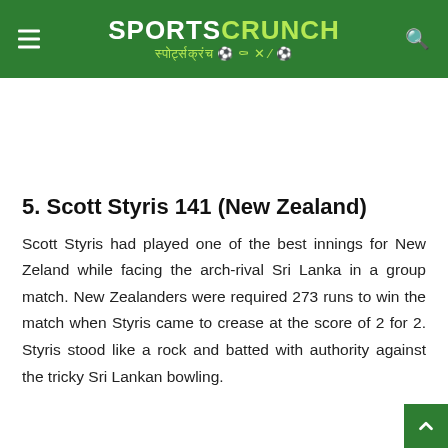SPORTS CRUNCH स्पोर्ट्सक्रंच
5. Scott Styris 141 (New Zealand)
Scott Styris had played one of the best innings for New Zeland while facing the arch-rival Sri Lanka in a group match. New Zealanders were required 273 runs to win the match when Styris came to crease at the score of 2 for 2. Styris stood like a rock and batted with authority against the tricky Sri Lankan bowling.